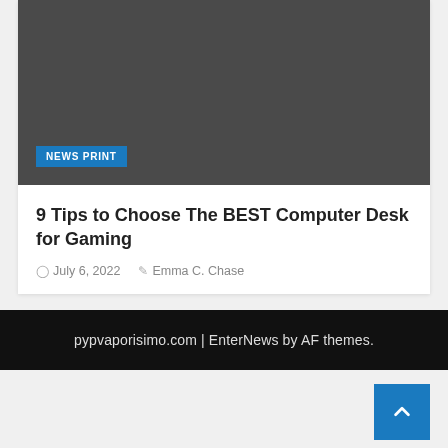[Figure (photo): Dark gray rectangular image area representing a placeholder for an article thumbnail image]
NEWS PRINT
9 Tips to Choose The BEST Computer Desk for Gaming
July 6, 2022   Emma C. Chase
pypvaporisimo.com | EnterNews by AF themes.